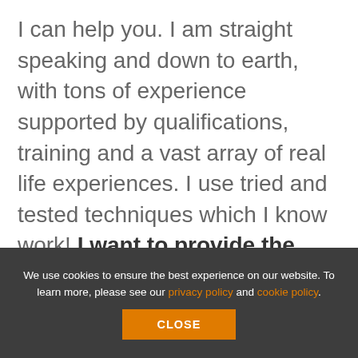I can help you. I am straight speaking and down to earth, with tons of experience supported by qualifications, training and a vast array of real life experiences. I use tried and tested techniques which I know work! I want to provide the complete resource here for you – a self-coaching resource.
We use cookies to ensure the best experience on our website. To learn more, please see our privacy policy and cookie policy.